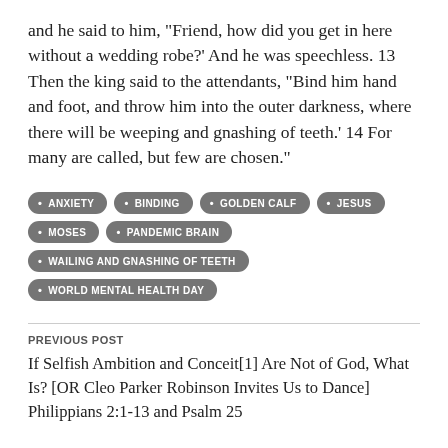and he said to him, “Friend, how did you get in here without a wedding robe?’ And he was speechless. 13 Then the king said to the attendants, “Bind him hand and foot, and throw him into the outer darkness, where there will be weeping and gnashing of teeth.’ 14 For many are called, but few are chosen.”
ANXIETY
BINDING
GOLDEN CALF
JESUS
MOSES
PANDEMIC BRAIN
WAILING AND GNASHING OF TEETH
WORLD MENTAL HEALTH DAY
PREVIOUS POST
If Selfish Ambition and Conceit[1] Are Not of God, What Is? [OR Cleo Parker Robinson Invites Us to Dance] Philippians 2:1-13 and Psalm 25